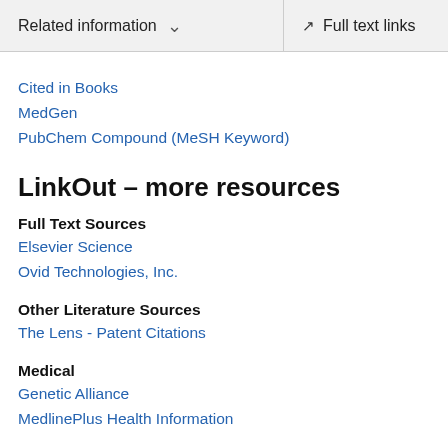Related information  ˅    Full text links
Cited in Books
MedGen
PubChem Compound (MeSH Keyword)
LinkOut – more resources
Full Text Sources
Elsevier Science
Ovid Technologies, Inc.
Other Literature Sources
The Lens - Patent Citations
Medical
Genetic Alliance
MedlinePlus Health Information